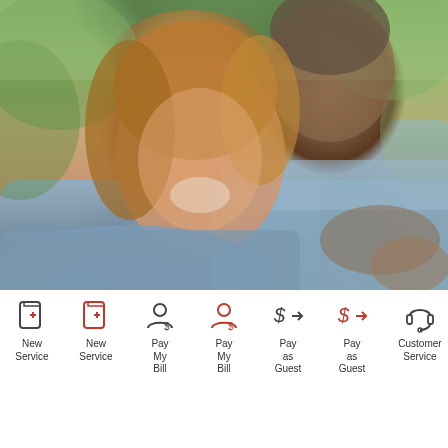[Figure (photo): Smiling older couple, woman with short auburn hair in blue shirt, man behind her in blue chambray shirt, outdoors]
[Figure (infographic): Row of service icons: New Service (document with plus), New Service (document with plus, red), Pay My Bill (person with dollar), Pay My Bill (person with dollar, red), Pay as Guest (dollar sign arrow), Pay as Guest (dollar sign arrow, red), Customer Service (headset), Customer Service (headset, partial/cut off)]